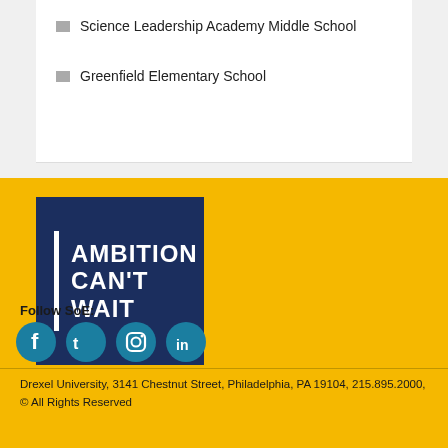Science Leadership Academy Middle School
Greenfield Elementary School
[Figure (logo): Drexel University School of Education logo with text 'AMBITION CAN'T WAIT' on dark navy background with white vertical bar accent]
A-Z Index | For Media | Careers | Privacy & Legal | Contact | Directions & Maps | Emergency Information
Follow SoE:
[Figure (other): Social media icons: Facebook, Twitter, Instagram, LinkedIn — teal circular icons]
Drexel University, 3141 Chestnut Street, Philadelphia, PA 19104, 215.895.2000, © All Rights Reserved